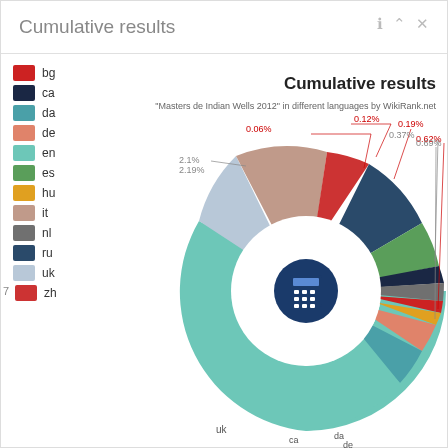Cumulative results
[Figure (donut-chart): Donut chart showing cumulative results for Masters de Indian Wells 2012 article in different languages by WikiRank.net. Largest slice is en (teal/mint). Labels visible: 0.06%, 0.12%, 0.19%, 0.37%, 0.62%, 0.69%, 2.1%, 2.1%. Segments labeled ca, da, de visible at bottom.]